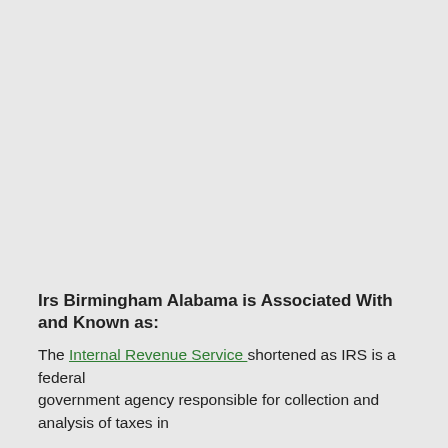Irs Birmingham Alabama is Associated With and Known as:
The Internal Revenue Service shortened as IRS is a federal government agency responsible for collection and analysis of taxes in